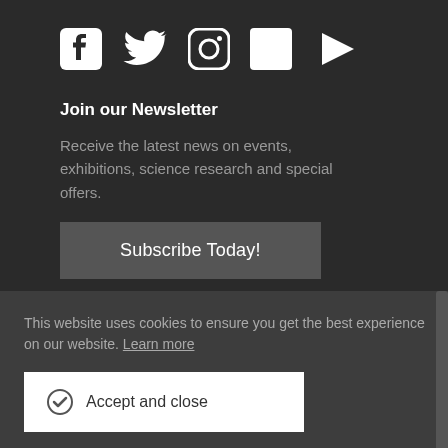[Figure (illustration): Social media icons in white: Facebook, Twitter, Instagram, LinkedIn, YouTube]
Join our Newsletter
Receive the latest news on events, exhibitions, science research and special offers.
Subscribe Today!
This website uses cookies to ensure you get the best experience on our website. Learn more
Accept and close
Copyright © 2022